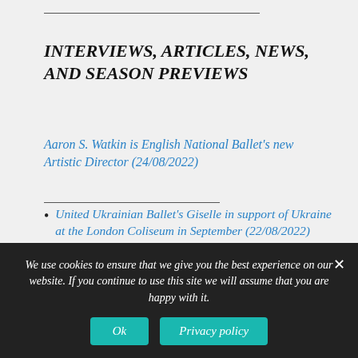INTERVIEWS, ARTICLES, NEWS, AND SEASON PREVIEWS
Aaron S. Watkin is English National Ballet's new Artistic Director (24/08/2022)
United Ukrainian Ballet's Giselle in support of Ukraine at the London Coliseum in September (22/08/2022)
Opera Rara bring Offenbach's La Princesse de Trébizonde to London's Queen Elizabeth Hall in
We use cookies to ensure that we give you the best experience on our website. If you continue to use this site we will assume that you are happy with it.
Ok
Privacy policy